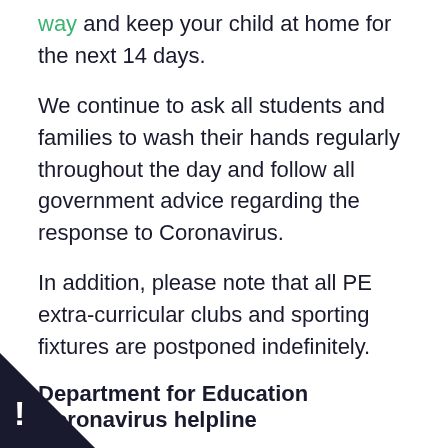way and keep your child at home for the next 14 days.
We continue to ask all students and families to wash their hands regularly throughout the day and follow all government advice regarding the response to Coronavirus.
In addition, please note that all PE extra-curricular clubs and sporting fixtures are postponed indefinitely.
Department for Education Coronavirus helpline
The Department for Education have launched a helpline to answer questions about COVID-19 related to education. Staff, parents and young